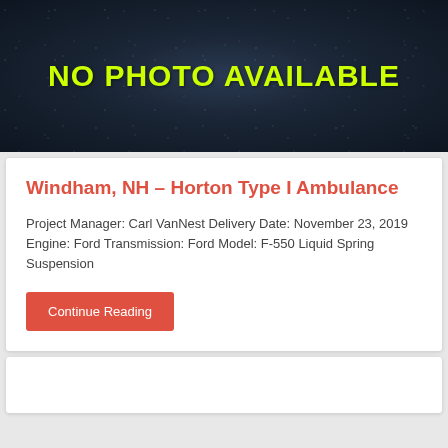[Figure (photo): Dark blue speckled background (night sky texture) with bold yellow-green text reading 'NO PHOTO AVAILABLE' centered in the image]
Windham, NH – Horton Type I Ambulance
Project Manager: Carl VanNest Delivery Date: November 23, 2019 Engine: Ford Transmission: Ford Model: F-550 Liquid Spring Suspension
Continue Reading